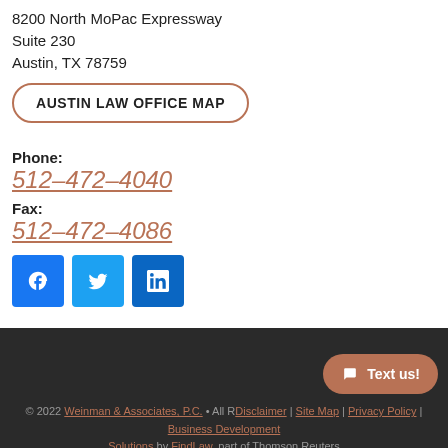8200 North MoPac Expressway
Suite 230
Austin, TX 78759
AUSTIN LAW OFFICE MAP
Phone:
512-472-4040
Fax:
512-472-4086
[Figure (infographic): Social media icons: Facebook (blue square with f), Twitter (light blue square with bird), LinkedIn (blue square with in)]
© 2022 Weinman & Associates, P.C. • All R[ights Reserved] | Disclaimer | Site Map | Privacy Policy | Business Development Solutions by FindLaw, part of Thomson Reuters